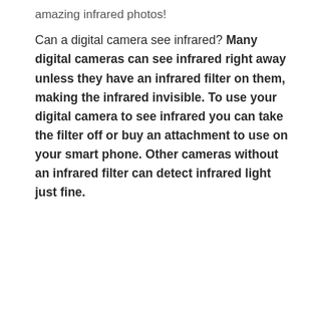amazing infrared photos! Can a digital camera see infrared? Many digital cameras can see infrared right away unless they have an infrared filter on them, making the infrared invisible. To use your digital camera to see infrared you can take the filter off or buy an attachment to use on your smart phone. Other cameras without an infrared filter can detect infrared light just fine.